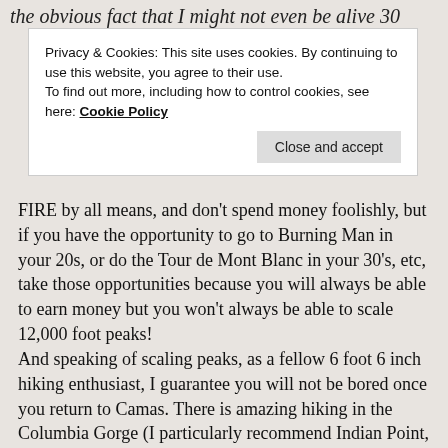the obvious fact that I might not even be alive 30
Privacy & Cookies: This site uses cookies. By continuing to use this website, you agree to their use.
To find out more, including how to control cookies, see here: Cookie Policy
Close and accept
FIRE by all means, and don't spend money foolishly, but if you have the opportunity to go to Burning Man in your 20s, or do the Tour de Mont Blanc in your 30's, etc, take those opportunities because you will always be able to earn money but you won't always be able to scale 12,000 foot peaks!
And speaking of scaling peaks, as a fellow 6 foot 6 inch hiking enthusiast, I guarantee you will not be bored once you return to Camas. There is amazing hiking in the Columbia Gorge (I particularly recommend Indian Point, which recently gave us some breathtaking views!). And if you do get bored with hiking that area, you're welcome to visit